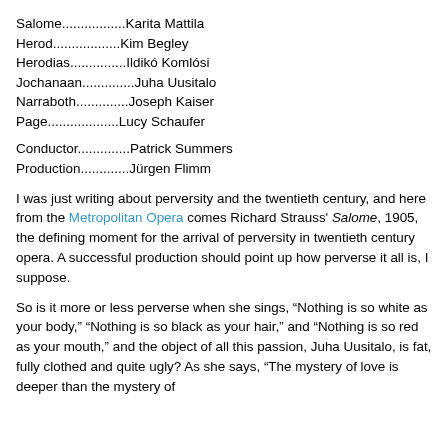Salome.................Karita Mattila
Herod...................Kim Begley
Herodias................Ildikó Komlósi
Jochanaan...............Juha Uusitalo
Narraboth...............Joseph Kaiser
Page...................Lucy Schaufer
Conductor...............Patrick Summers
Production..............Jürgen Flimm
I was just writing about perversity and the twentieth century, and here from the Metropolitan Opera comes Richard Strauss' Salome, 1905, the defining moment for the arrival of perversity in twentieth century opera. A successful production should point up how perverse it all is, I suppose.
So is it more or less perverse when she sings, “Nothing is so white as your body,” “Nothing is so black as your hair,” and “Nothing is so red as your mouth,” and the object of all this passion, Juha Uusitalo, is fat, fully clothed and quite ugly? As she says, “The mystery of love is deeper than the mystery of